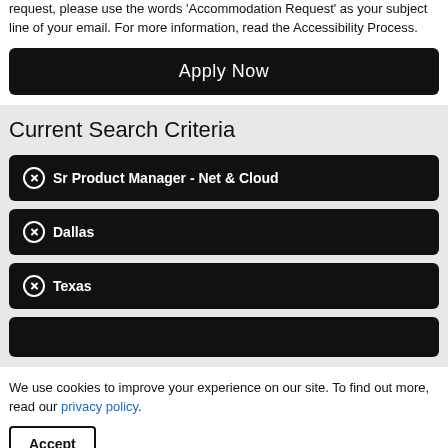request, please use the words 'Accommodation Request' as your subject line of your email. For more information, read the Accessibility Process.
[Figure (other): Apply Now button - large black rounded rectangle with white text]
Current Search Criteria
Sr Product Manager - Net & Cloud
Dallas
Texas
We use cookies to improve your experience on our site. To find out more, read our privacy policy.
[Figure (other): Accept button - white rectangle with black border and bold text 'Accept']